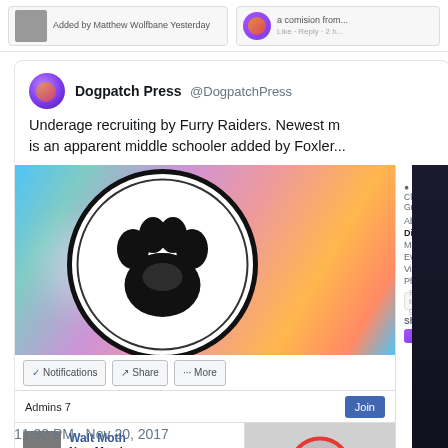[Figure (screenshot): Partial Facebook group cards showing 'Added by Matthew Wolfbane Yesterday' text and a partial profile image with purple icon]
[Figure (screenshot): Twitter/X post by Dogpatch Press (@DogpatchPress) showing a screenshot of a Facebook group (Furry Raiders) page with a paw print logo, group navigation, admin info showing 'Walt Moth - New Member, Joined, Added by Matthew Wolfbane Yesterday'. Tweet timestamp: 11:32 PM · Nov 20, 2017]
Dogpatch Press @DogpatchPress
Underage recruiting by Furry Raiders. Newest m... is an apparent middle schooler added by Foxler...
11:32 PM · Nov 20, 2017